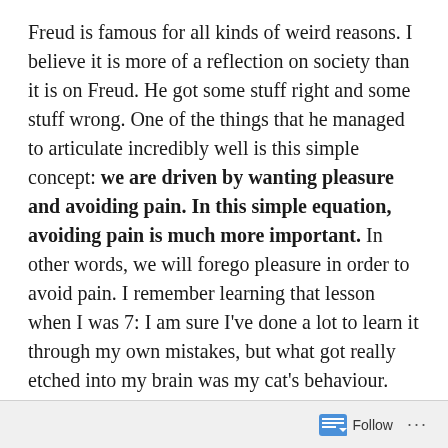Freud is famous for all kinds of weird reasons. I believe it is more of a reflection on society than it is on Freud. He got some stuff right and some stuff wrong. One of the things that he managed to articulate incredibly well is this simple concept: we are driven by wanting pleasure and avoiding pain. In this simple equation, avoiding pain is much more important. In other words, we will forego pleasure in order to avoid pain. I remember learning that lesson when I was 7: I am sure I've done a lot to learn it through my own mistakes, but what got really etched into my brain was my cat's behaviour. My lovely cat, she was probably about 5 months old then, got on top of the kitchen counter while no one was looking. I may have been an accomplice in her
Follow ···